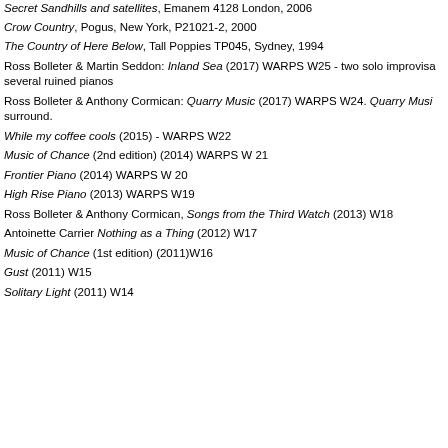Secret Sandhills and satellites, Emanem 4128 London, 2006
Crow Country, Pogus, New York, P21021-2, 2000
The Country of Here Below, Tall Poppies TP045, Sydney, 1994
Ross Bolleter & Martin Seddon: Inland Sea (2017) WARPS W25 - two solo improvisa several ruined pianos
Ross Bolleter & Anthony Cormican: Quarry Music (2017) WARPS W24. Quarry Musi surround.
While my coffee cools (2015) - WARPS W22
Music of Chance (2nd edition) (2014) WARPS W 21
Frontier Piano (2014) WARPS W 20
High Rise Piano (2013) WARPS W19
Ross Bolleter & Anthony Cormican, Songs from the Third Watch (2013) W18
Antoinette Carrier Nothing as a Thing (2012) W17
Music of Chance (1st edition) (2011)W16
Gust (2011) W15
Solitary Light (2011) W14